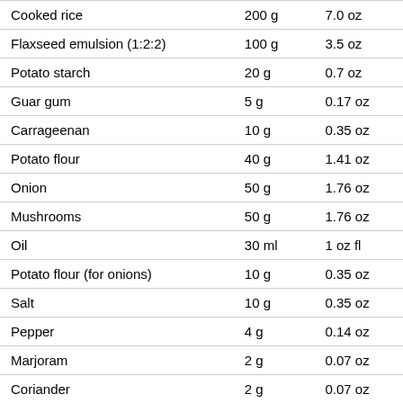| Cooked rice | 200 g | 7.0 oz |
| Flaxseed emulsion (1:2:2) | 100 g | 3.5 oz |
| Potato starch | 20 g | 0.7 oz |
| Guar gum | 5 g | 0.17 oz |
| Carrageenan | 10 g | 0.35 oz |
| Potato flour | 40 g | 1.41 oz |
| Onion | 50 g | 1.76 oz |
| Mushrooms | 50 g | 1.76 oz |
| Oil | 30 ml | 1 oz fl |
| Potato flour (for onions) | 10 g | 0.35 oz |
| Salt | 10 g | 0.35 oz |
| Pepper | 4 g | 0.14 oz |
| Marjoram | 2 g | 0.07 oz |
| Coriander | 2 g | 0.07 oz |
| Chervil and ... | 2 Tbsp | 2 Tbsp |